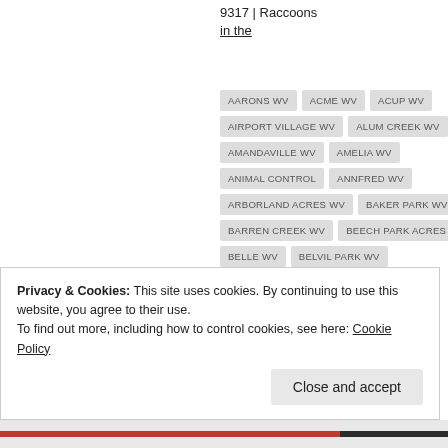9317 | Raccoons in the
AARONS WV
ACME WV
ACUP WV
AIRPORT VILLAGE WV
ALUM CREEK WV
AMANDAVILLE WV
AMELIA WV
ANIMAL CONTROL
ANNFRED WV
ARBORLAND ACRES WV
BAKER PARK WV
BARREN CREEK WV
BEECH PARK ACRES WV
BELLE WV
BELVIL PARK WV
BIG CHIMNEY WEST VIRGINIA
Privacy & Cookies: This site uses cookies. By continuing to use this website, you agree to their use.
To find out more, including how to control cookies, see here: Cookie Policy